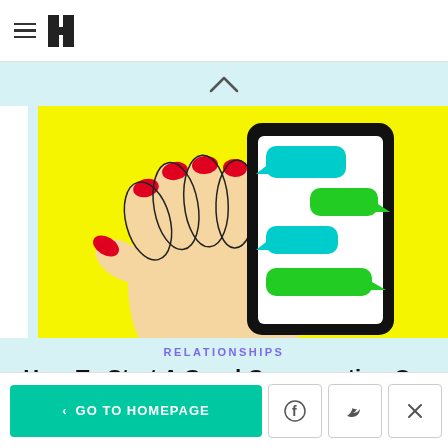HuffPost navigation header with hamburger menu and logo
[Figure (illustration): Illustration of a hand with red painted nails holding a black smartphone, showing alternating cyan and green speech bubbles on a yellow background]
RELATIONSHIPS
How To Start A Good Conversation On A Dating App
< GO TO HOMEPAGE | Facebook icon | Twitter icon | X close button